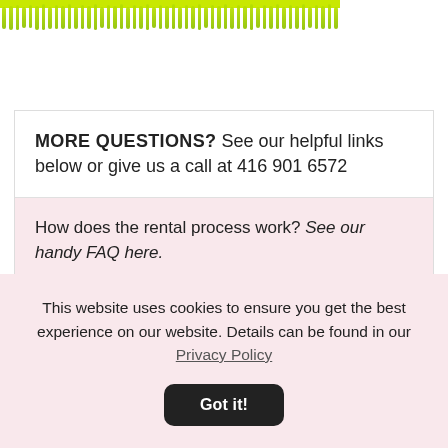[Figure (photo): Green decorative fringe or tassel trim along the top of the page]
MORE QUESTIONS?  See our helpful links below or give us a call at 416 901 6572
How does the rental process work? See our handy FAQ here.
Do I need an appointment to come try on the dresses? Nope, just drop by anytime during our store hours.
This website uses cookies to ensure you get the best experience on our website. Details can be found in our Privacy Policy
Got it!